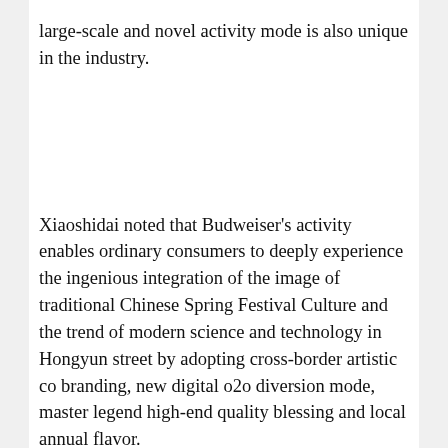large-scale and novel activity mode is also unique in the industry.
Xiaoshidai noted that Budweiser's activity enables ordinary consumers to deeply experience the ingenious integration of the image of traditional Chinese Spring Festival Culture and the trend of modern science and technology in Hongyun street by adopting cross-border artistic co branding, new digital o2o diversion mode, master legend high-end quality blessing and local annual flavor.